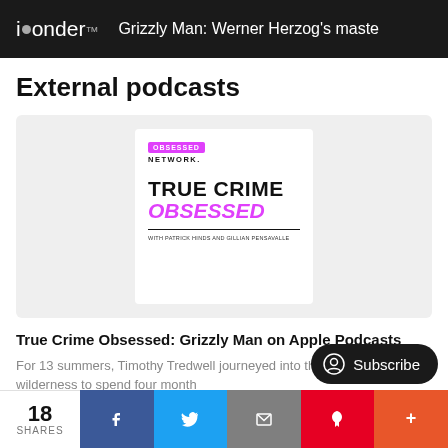iwonder. Grizzly Man: Werner Herzog's maste
External podcasts
[Figure (illustration): True Crime Obsessed podcast artwork: white card with 'OBSESSED NETWORK' logo at top, 'TRUE CRIME OBSESSED' title with 'OBSESSED' in pink italic, 'with PATRICK HINDS and GILLIAN PENSAVALLE' subtitle]
True Crime Obsessed: Grizzly Man on Apple Podcasts
For 13 summers, Timothy Tredwell journeyed into the Alaskan wilderness to spend four month
Subscribe
18 SHARES